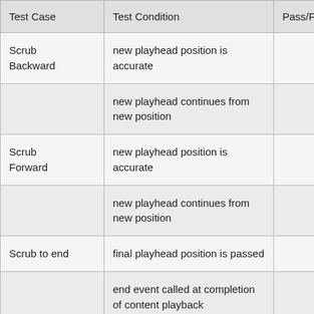| Test Case | Test Condition | Pass/Fail |
| --- | --- | --- |
| Scrub Backward | new playhead position is accurate |  |
|  | new playhead continues from new position |  |
| Scrub Forward | new playhead position is accurate |  |
|  | new playhead continues from new position |  |
| Scrub to end | final playhead position is passed |  |
|  | end event called at completion of content playback |  |
| Scrub past midroll | Playhead for content stops |  |